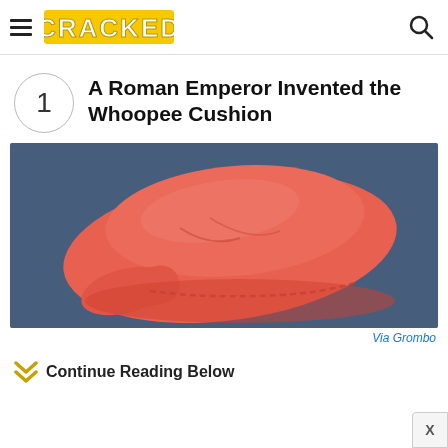CRACKED
1 A Roman Emperor Invented the Whoopee Cushion
[Figure (photo): A red/salmon-colored whoopee cushion resting on a blue denim fabric background.]
Via Grombo
Continue Reading Below